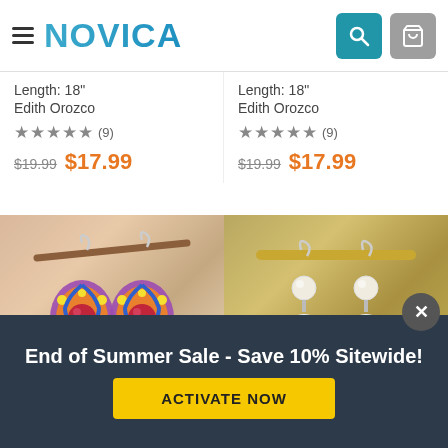NOVICA
Length: 18"
Edith Orozco
★★★★★ (9)
$19.99  $17.99
Length: 18"
Edith Orozco
★★★★★ (9)
$19.99  $17.99
[Figure (photo): Colorful hand-painted earrings with blue, purple, and red design hanging from a branch]
[Figure (photo): Silver earrings with white pearl and blue painted ceramic bead hanging from a gold bar]
End of Summer Sale - Save 10% Sitewide!
ACTIVATE NOW